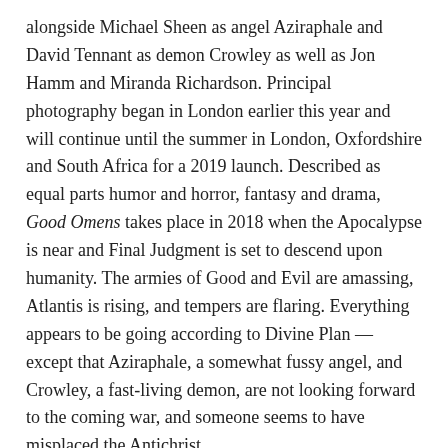alongside Michael Sheen as angel Aziraphale and David Tennant as demon Crowley as well as Jon Hamm and Miranda Richardson. Principal photography began in London earlier this year and will continue until the summer in London, Oxfordshire and South Africa for a 2019 launch. Described as equal parts humor and horror, fantasy and drama, Good Omens takes place in 2018 when the Apocalypse is near and Final Judgment is set to descend upon humanity. The armies of Good and Evil are amassing, Atlantis is rising, and tempers are flaring. Everything appears to be going according to Divine Plan — except that Aziraphale, a somewhat fussy angel, and Crowley, a fast-living demon, are not looking forward to the coming war, and someone seems to have misplaced the Antichrist.
TaTaTu, the AMBI-backed social entertainment platform that uses blockchain technology to reward its audience, claims to have sold $575M worth of digital tokens in private sales ahead of launch. Among the supporters of the TTU Tokens are Prince Felix of Luxembourg, cryptocurrency investment firms BlockTower